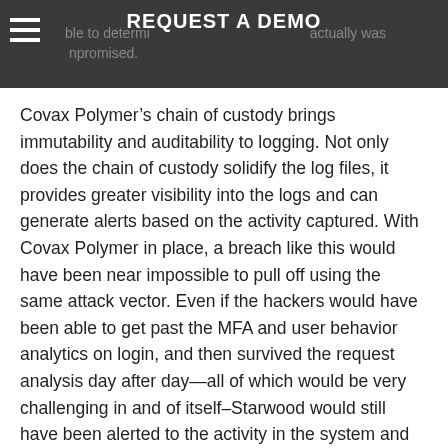REQUEST A DEMO
Covax Polymer’s chain of custody brings immutability and auditability to logging. Not only does the chain of custody solidify the log files, it provides greater visibility into the logs and can generate alerts based on the activity captured. With Covax Polymer in place, a breach like this would have been near impossible to pull off using the same attack vector. Even if the hackers would have been able to get past the MFA and user behavior analytics on login, and then survived the request analysis day after day—all of which would be very challenging in and of itself–Starwood would still have been alerted to the activity in the system and been able to identify that it was not legitimate. This information would have allowed them to immediately shut down the threat and make determinations to the specific data compromised.